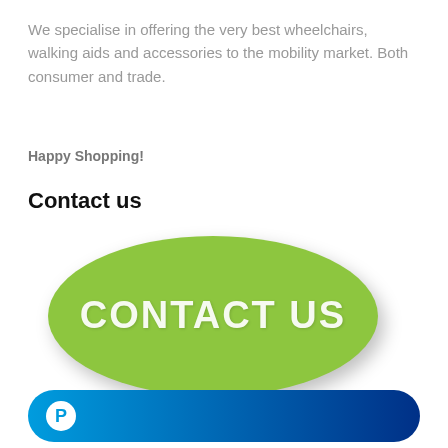We specialise in offering the very best wheelchairs, walking aids and accessories to the mobility market. Both consumer and trade.
Happy Shopping!
Contact us
[Figure (illustration): Green oval button with white uppercase text reading CONTACT US, with a drop shadow]
[Figure (logo): PayPal payment button — a rounded rectangle with a blue gradient (light blue to dark blue) and a white circular PayPal P logo on the left]